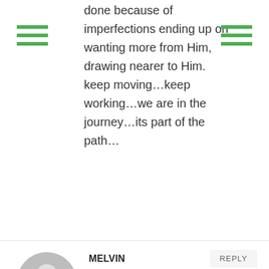done because of imperfections ending up on wanting more from Him, drawing nearer to Him. keep moving…keep working…we are in the journey…its part of the path…
MELVIN
JULY 28, 2009 AT 3:47 AM
It seems na nagkukulang talaga sa conviction for the proper practice of faith and discipleship ang church natin. I say the whole church at hindi lang ang